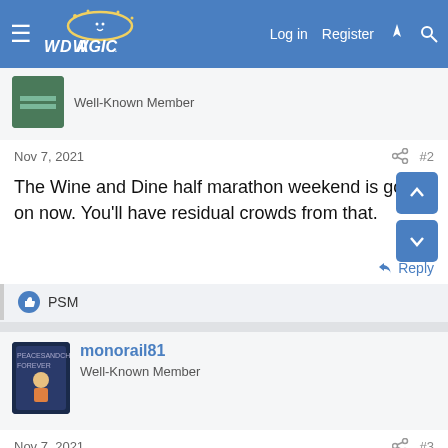WDWMagic — Log in  Register
Well-Known Member
Nov 7, 2021  #2
The Wine and Dine half marathon weekend is going on now. You'll have residual crowds from that.
PSM
monorail81
Well-Known Member
Nov 7, 2021  #3
Also....Veteran's Day is on Thursday...